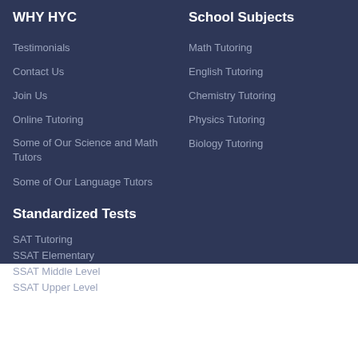WHY HYC
Testimonials
Contact Us
Join Us
Online Tutoring
Some of Our Science and Math Tutors
Some of Our Language Tutors
School Subjects
Math Tutoring
English Tutoring
Chemistry Tutoring
Physics Tutoring
Biology Tutoring
Standardized Tests
SAT Tutoring
SSAT Elementary
SSAT Middle Level
SSAT Upper Level